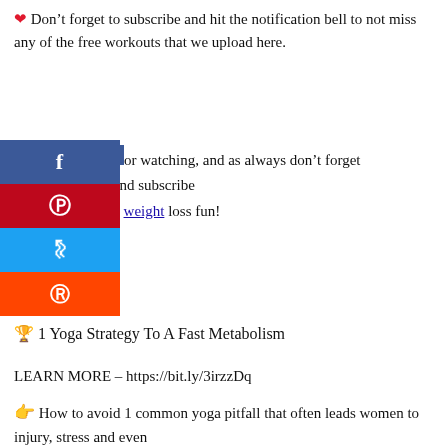❤ Don't forget to subscribe and hit the notification bell to not miss any of the free workouts that we upload here.
for watching, and as always don't forget to like, and subscribe ...hannel for more weight loss fun!
[Figure (other): Social media share buttons: Facebook (blue), Pinterest (red), Twitter (blue), Reddit (orange)]
🏆 1 Yoga Strategy To A Fast Metabolism
LEARN MORE – https://bit.ly/3irzzDq
👉 How to avoid 1 common yoga pitfall that often leads women to injury, stress and even